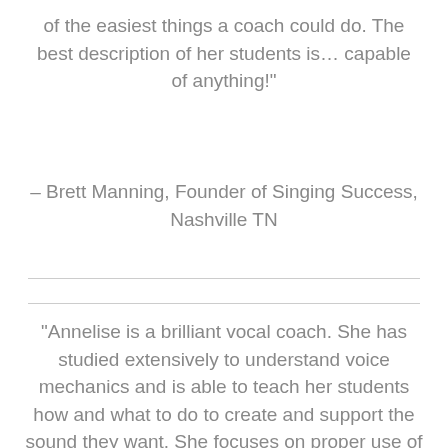of the easiest things a coach could do. The best description of her students is… capable of anything!"
– Brett Manning, Founder of Singing Success, Nashville TN
"Annelise is a brilliant vocal coach. She has studied extensively to understand voice mechanics and is able to teach her students how and what to do to create and support the sound they want. She focuses on proper use of vocal cords. Her instruction enables students to develop beyond their natural ability. My oldest daughter